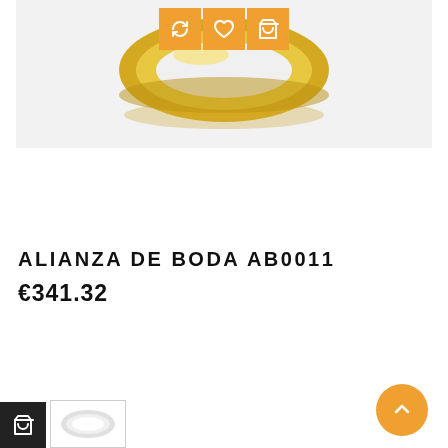[Figure (photo): Gold wedding band ring displayed on a light grey background with three orange action buttons (refresh, heart/wishlist, shopping bag) overlaid at the top center of the image.]
ALIANZA DE BODA AB0011
€341.32
[Figure (screenshot): Bottom bar showing a dark cart icon button on the left, and a small thumbnail of a silver/white ring next to it. On the far right, an orange circular back-to-top arrow button.]